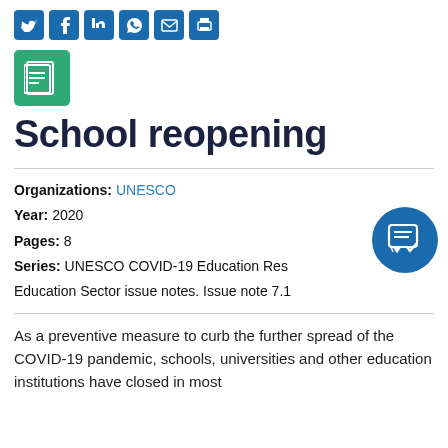[Figure (infographic): Row of social media share icons: Twitter, Facebook, LinkedIn, WhatsApp, Email, Print — each in a blue rounded square]
[Figure (logo): Green square icon with a document/list symbol in white]
School reopening
Organizations: UNESCO
Year: 2020
Pages: 8
Series: UNESCO COVID-19 Education Response. Education Sector issue notes. Issue note 7.1
[Figure (illustration): Blue circle with a white chat/feedback icon inside]
As a preventive measure to curb the further spread of the COVID-19 pandemic, schools, universities and other education institutions have closed in most